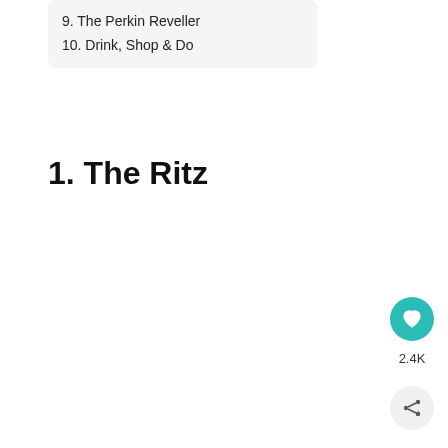9. The Perkin Reveller
10. Drink, Shop & Do
1. The Ritz